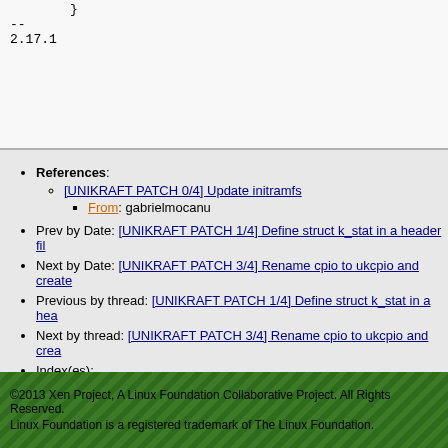}
--
2.17.1
References: [UNIKRAFT PATCH 0/4] Update initramfs — From: gabrielmocanu
Prev by Date: [UNIKRAFT PATCH 1/4] Define struct k_stat in a header fil...
Next by Date: [UNIKRAFT PATCH 3/4] Rename cpio to ukcpio and create...
Previous by thread: [UNIKRAFT PATCH 1/4] Define struct k_stat in a hea...
Next by thread: [UNIKRAFT PATCH 3/4] Rename cpio to ukcpio and crea...
Index(es): Date, Thread
©2013 Xen Project, A Linux Foundation Collaborative Project. All Rights Reserved.
Linux Foundation is a registered trademark of The Linux Foundation.